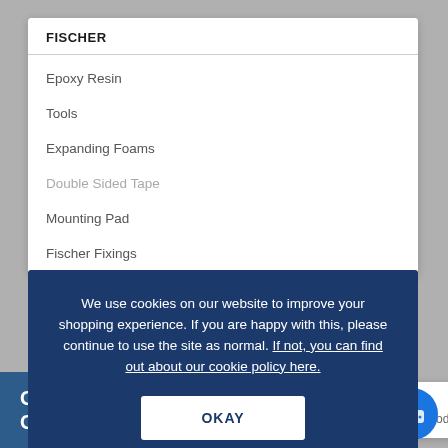FISCHER
Epoxy Resin
Tools
Expanding Foams
We use cookies on our website to improve your shopping experience. If you are happy with this, please continue to use the site as normal. If not, you can find out about our cookie policy here.
OKAY
Double Sided Tape
Mounting Pad
Fischer Fixings
[Figure (screenshot): Partial bottom image strip showing GLASS W... CALCU... text in white on blue background]
We're Online! How may I help you today?